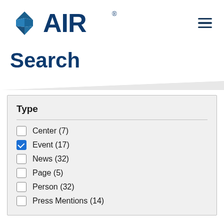[Figure (logo): AIR (American Institutes for Research) logo with blue diamond/arrow shape and AIR text in dark blue]
Search
Type
Center (7)
Event (17)
News (32)
Page (5)
Person (32)
Press Mentions (14)